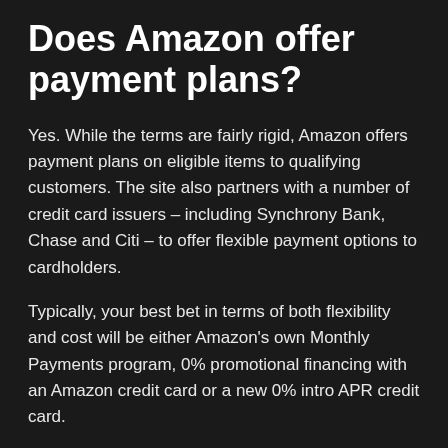Does Amazon offer payment plans?
Yes. While the terms are fairly rigid, Amazon offers payment plans on eligible items to qualifying customers. The site also partners with a number of credit card issuers – including Synchrony Bank, Chase and Citi – to offer flexible payment options to cardholders.
Typically, your best bet in terms of both flexibility and cost will be either Amazon's own Monthly Payments program, 0% promotional financing with an Amazon credit card or a new 0% intro APR credit card.
Amazon Monthly Payments
Monthly Payments is a little-known installment payment